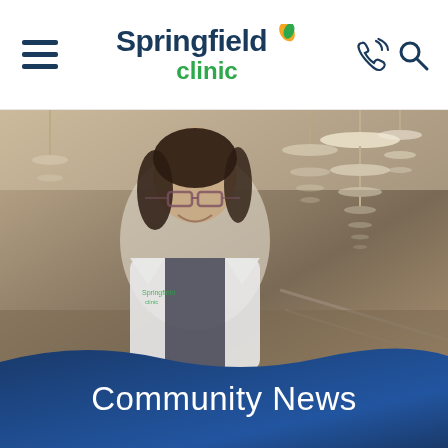Springfield Clinic
[Figure (photo): Female doctor in white lab coat with Springfield Clinic logo, smiling, wearing glasses with dark hair, standing in a clinic interior with hanging lights in the background]
Community News